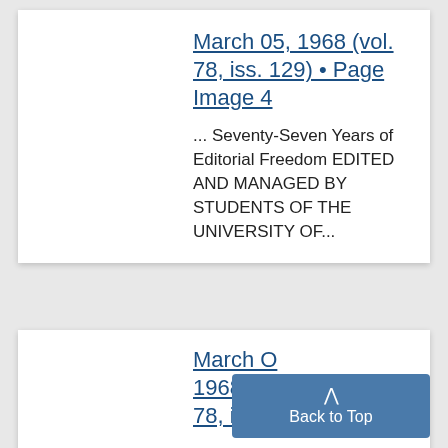March 05, 1968 (vol. 78, iss. 129) • Page Image 4
... Seventy-Seven Years of Editorial Freedom EDITED AND MANAGED BY STUDENTS OF THE UNIVERSITY OF...
March 0[5], 1968 (vo[l.] 78, iss. 1[29] •